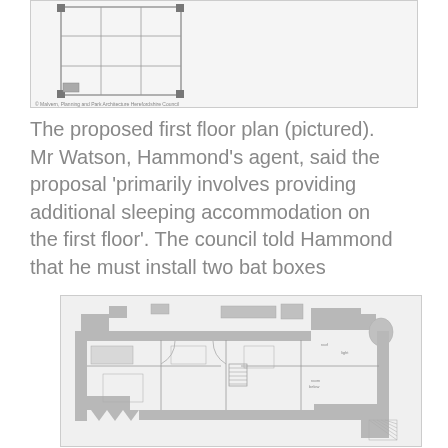[Figure (engineering-diagram): Proposed first floor plan diagram showing a simple architectural grid/frame layout with structural elements, with a watermark at the bottom reading 'Malvern Planning and Park Architecture Herefordshire Council']
The proposed first floor plan (pictured). Mr Watson, Hammond's agent, said the proposal 'primarily involves providing additional sleeping accommodation on the first floor'. The council told Hammond that he must install two bat boxes
[Figure (engineering-diagram): Detailed architectural first floor plan showing multiple rooms, walls, doorways, windows, stairs, and structural features of a large residential building.]